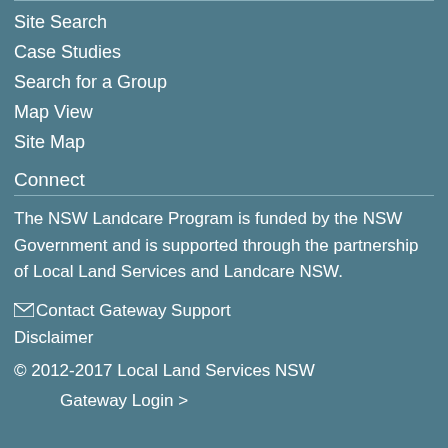Site Search
Case Studies
Search for a Group
Map View
Site Map
Connect
The NSW Landcare Program is funded by the NSW Government and is supported through the partnership of Local Land Services and Landcare NSW.
✉ Contact Gateway Support
Disclaimer
© 2012-2017 Local Land Services NSW
Gateway Login >